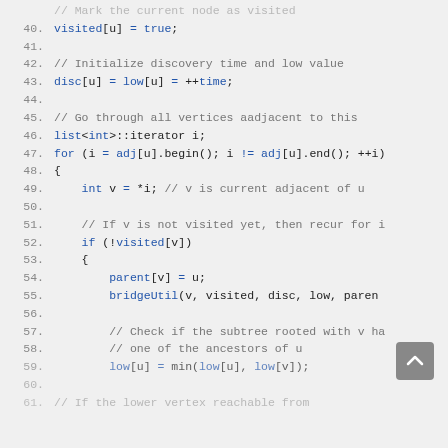Code snippet showing C++ graph bridge utility function lines 39-61
39. // Mark the current node as visited (partial, cut off at top)
40.     visited[u] = true;
41.
42.     // Initialize discovery time and low value
43.     disc[u] = low[u] = ++time;
44.
45.     // Go through all vertices aadjacent to this
46.     list<int>::iterator i;
47.     for (i = adj[u].begin(); i != adj[u].end(); ++i)
48.     {
49.         int v = *i; // v is current adjacent of u
50.
51.         // If v is not visited yet, then recur for i
52.         if (!visited[v])
53.         {
54.             parent[v] = u;
55.             bridgeUtil(v, visited, disc, low, parent
56.
57.             // Check if the subtree rooted with v ha
58.             // one of the ancestors of u
59.             low[u] = min(low[u], low[v]);
60.
61.             // If the lower vertex reachable from (partial)